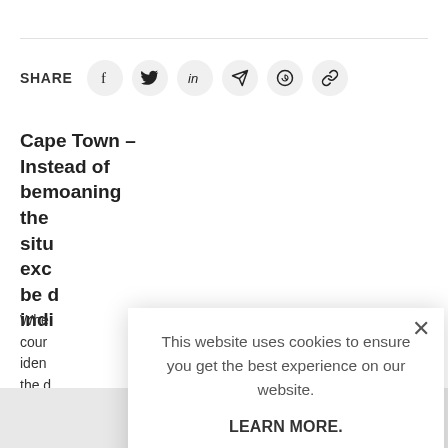SHARE
[Figure (screenshot): Social share icons: Facebook, Twitter, LinkedIn, Telegram, WhatsApp, Link]
Cape Town – Instead of bemoaning the situ exc be d indi
Whe cour iden the d
[Figure (screenshot): Cookie consent modal dialog with text: 'This website uses cookies to ensure you get the best experience on our website.' LEARN MORE. and ACCEPT COOKIES button]